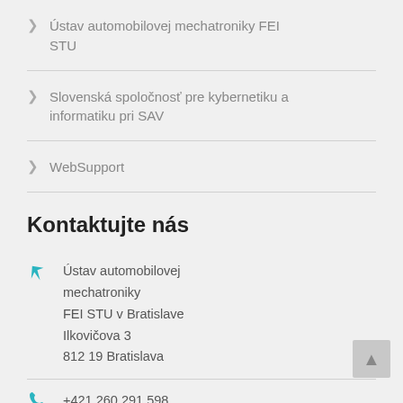Ústav automobilovej mechatroniky FEI STU
Slovenská spoločnosť pre kybernetiku a informatiku pri SAV
WebSupport
Kontaktujte nás
Ústav automobilovej mechatroniky
FEI STU v Bratislave
Ilkovičova 3
812 19 Bratislava
+421 260 291 598